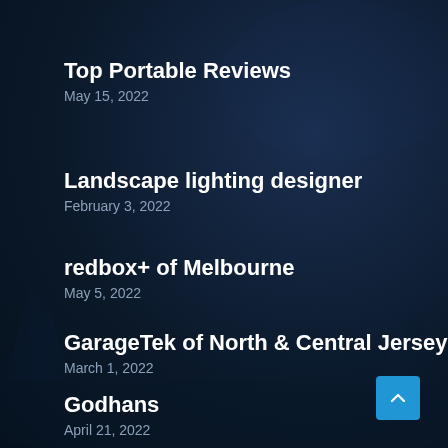Top Portable Reviews
May 15, 2022
Landscape lighting designer
February 3, 2022
redbox+ of Melbourne
May 5, 2022
GarageTek of North & Central Jersey
March 1, 2022
Godhans
April 21, 2022